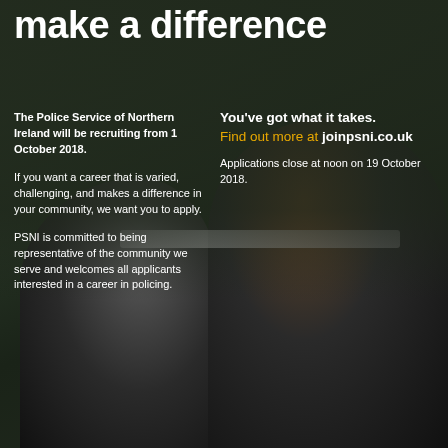make a difference
The Police Service of Northern Ireland will be recruiting from 1 October 2018.
If you want a career that is varied, challenging, and makes a difference in your community, we want you to apply.
PSNI is committed to being representative of the community we serve and welcomes all applicants interested in a career in policing.
You've got what it takes. Find out more at joinpsni.co.uk
Applications close at noon on 19 October 2018.
[Figure (photo): Two PSNI police officers in uniform smiling, outdoors near a police vehicle. One female officer on the left wearing a PSNI cap, one male officer on the right with a headset/radio.]